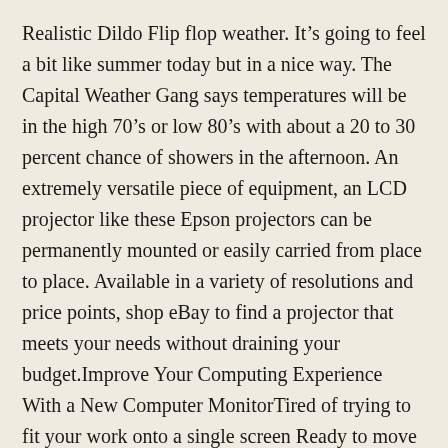Realistic Dildo Flip flop weather. It’s going to feel a bit like summer today but in a nice way. The Capital Weather Gang says temperatures will be in the high 70’s or low 80’s with about a 20 to 30 percent chance of showers in the afternoon. An extremely versatile piece of equipment, an LCD projector like these Epson projectors can be permanently mounted or easily carried from place to place. Available in a variety of resolutions and price points, shop eBay to find a projector that meets your needs without draining your budget.Improve Your Computing Experience With a New Computer MonitorTired of trying to fit your work onto a single screen Ready to move up to a gaming monitor Thinking that several connected computer monitors would make your life easier You’ve come to the right place. EBay has a selection of LED and LCD computer monitors, including Dell computer monitors, that will help you take a better look at whatever you’re into from